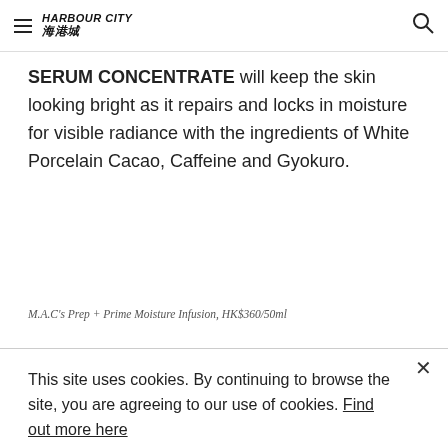HARBOUR CITY 海港城
SERUM CONCENTRATE will keep the skin looking bright as it repairs and locks in moisture for visible radiance with the ingredients of White Porcelain Cacao, Caffeine and Gyokuro.
M.A.C's Prep + Prime Moisture Infusion, HK$360/50ml
This site uses cookies. By continuing to browse the site, you are agreeing to our use of cookies. Find out more here